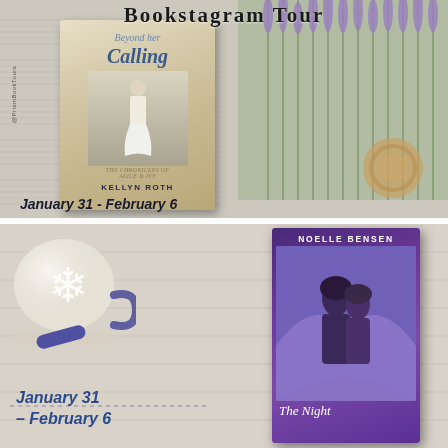Bookstagram Tour
[Figure (illustration): Top half promotional card: book cover 'Beyond Her Calling' by Kellyn Roth against a rustic background with sheet music, dried lavender, and rope/twine. Date: January 31 - February 6]
January 31 - February 6
[Figure (illustration): Bottom half promotional card: book cover 'The Night...' by Noelle Bensen (purple cover with couple) alongside a latte with snowflake art. Date: January 31 - February 6]
January 31 – February 6